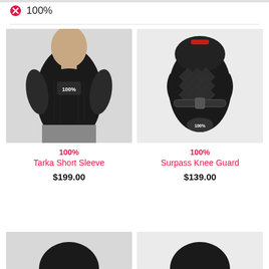100%
[Figure (photo): Person wearing a black 100% Tarka Short Sleeve protective shirt]
100%
Tarka Short Sleeve
$199.00
[Figure (photo): 100% Surpass Knee Guard protective knee pad in black]
100%
Surpass Knee Guard
$139.00
[Figure (photo): Partial view of another protective product at bottom left]
[Figure (photo): Partial view of another protective product at bottom right]